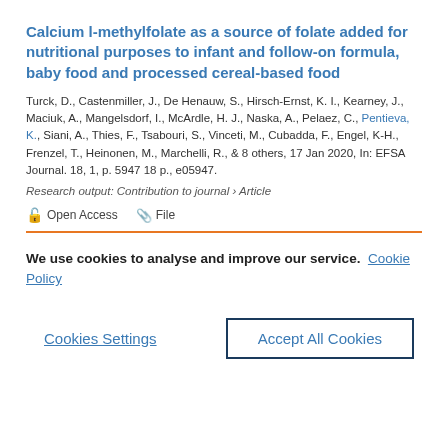Calcium l-methylfolate as a source of folate added for nutritional purposes to infant and follow-on formula, baby food and processed cereal-based food
Turck, D., Castenmiller, J., De Henauw, S., Hirsch-Ernst, K. I., Kearney, J., Maciuk, A., Mangelsdorf, I., McArdle, H. J., Naska, A., Pelaez, C., Pentieva, K., Siani, A., Thies, F., Tsabouri, S., Vinceti, M., Cubadda, F., Engel, K-H., Frenzel, T., Heinonen, M., Marchelli, R., & 8 others, 17 Jan 2020, In: EFSA Journal. 18, 1, p. 5947 18 p., e05947.
Research output: Contribution to journal › Article
Open Access   File
We use cookies to analyse and improve our service. Cookie Policy
Cookies Settings
Accept All Cookies